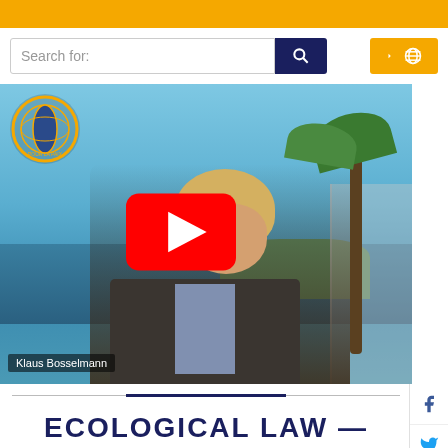[Figure (screenshot): Search bar with 'Search for:' placeholder text, dark blue search button with magnifying glass icon, and gold/yellow globe icon button on the right]
[Figure (screenshot): YouTube video thumbnail showing Klaus Bosselmann, a man with blonde hair speaking in front of a coastal scene with palm trees and blue sea. A YouTube play button overlay is visible in the center. An organization logo (globe with 'POUR LA PAIX' text) appears in the upper left. Caption 'Klaus Bosselmann' appears in lower left.]
ECOLOGICAL LAW —